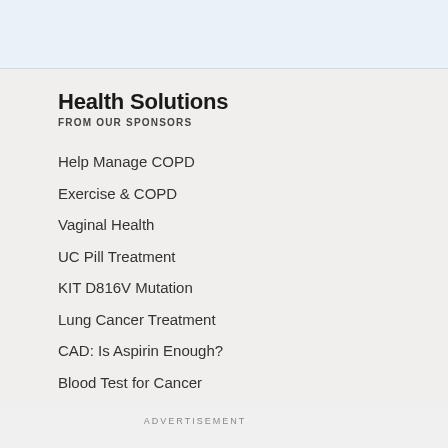Health Solutions
FROM OUR SPONSORS
Help Manage COPD
Exercise & COPD
Vaginal Health
UC Pill Treatment
KIT D816V Mutation
Lung Cancer Treatment
CAD: Is Aspirin Enough?
Blood Test for Cancer
ADVERTISEMENT